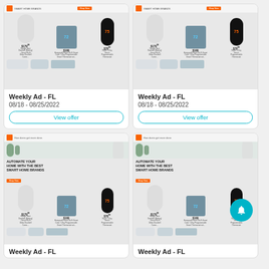[Figure (screenshot): Home Depot weekly ad screenshot showing smart home products (Google Nest Doorbell, Honeywell Wi-Fi thermostat, smart lock) with prices $179, $169, $79]
Weekly Ad - FL
08/18 - 08/25/2022
View offer
[Figure (screenshot): Home Depot weekly ad screenshot showing smart home products (Google Nest Doorbell, Honeywell Wi-Fi thermostat, smart lock) with prices $179, $169, $79]
Weekly Ad - FL
08/18 - 08/25/2022
View offer
[Figure (screenshot): Home Depot weekly ad screenshot - Automate Your Home With The Best Smart Home Brands - showing same smart home products]
Weekly Ad - FL
[Figure (screenshot): Home Depot weekly ad screenshot - Automate Your Home With The Best Smart Home Brands - with notification bell overlay]
Weekly Ad - FL